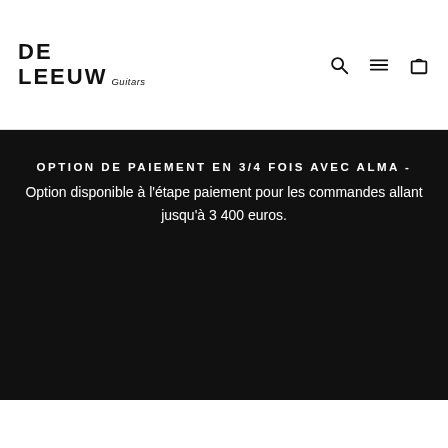DE LEEUW Guitars
OPTION DE PAIEMENT EN 3/4 FOIS AVEC ALMA - Option disponible à l'étape paiement pour les commandes allant jusqu'à 3 400 euros.